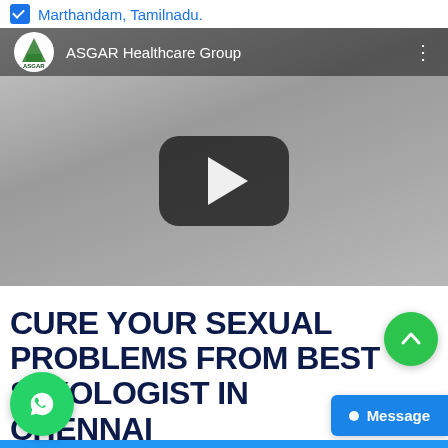✓ Marthandam, Tamilnadu.
[Figure (screenshot): YouTube video thumbnail for ASGAR Healthcare Group channel showing a play button on a gray background]
CURE YOUR SEXUAL PROBLEMS FROM BEST SEXOLOGIST IN CHENNAI